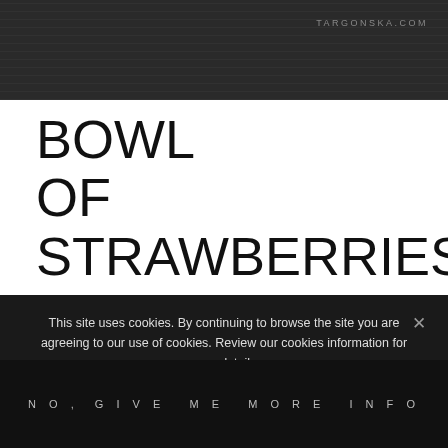[Figure (photo): Dark textured header background, chalkboard-like dark gray surface]
TARGONSKA.COM
BOWL
OF STRAWBERRIES
This site uses cookies. By continuing to browse the site you are agreeing to our use of cookies. Review our cookies information for more details.
I AGREE
×
NO, GIVE ME MORE INFO